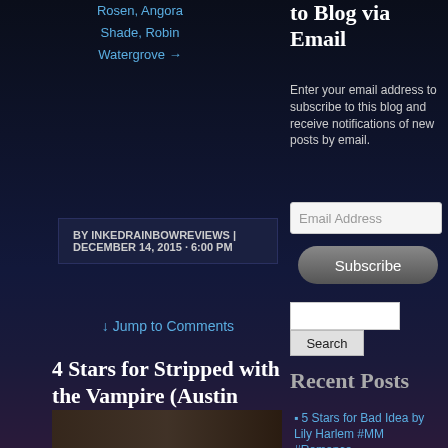Rosen, Angora
Shade, Robin
Watergrove →
BY INKEDRAINBOWREVIEWS | DECEMBER 14, 2015 - 6:00 PM
↓ Jump to Comments
4 Stars for Stripped with the Vampire (Austin Immortals #1) by Jax Garren #MM #Paranormal @JCGarren
to Blog via Email
Enter your email address to subscribe to this blog and receive notifications of new posts by email.
Email Address
Subscribe
Recent Posts
5 Stars for Bad Idea by Lily Harlem #MM #Romance
[Figure (photo): Partial photo at bottom of left column showing a person]